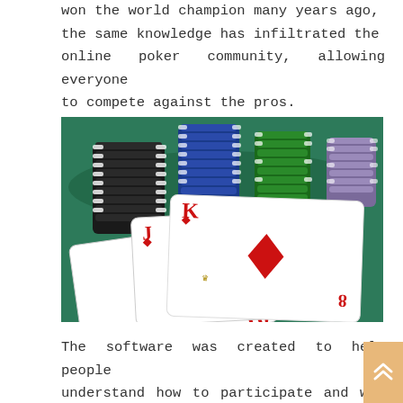won the world champion many years ago, the same knowledge has infiltrated the online poker community, allowing everyone to compete against the pros.
[Figure (photo): Close-up photo of playing cards (King of diamonds, Jack of diamonds, 10 of diamonds) laid on a green felt poker table surface, with stacks of black, blue, green, and purple poker chips in the background.]
The software was created to help people understand how to participate and win in